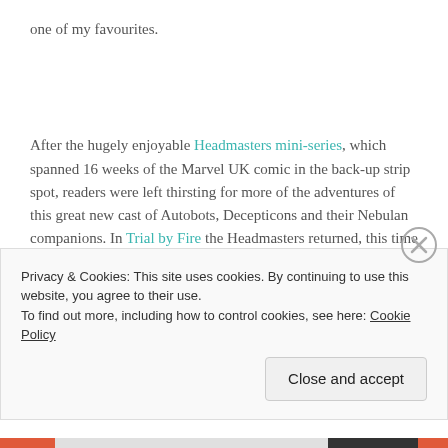one of my favourites.
After the hugely enjoyable Headmasters mini-series, which spanned 16 weeks of the Marvel UK comic in the back-up strip spot, readers were left thirsting for more of the adventures of this great new cast of Autobots, Decepticons and their Nebulan companions. In Trial by Fire the Headmasters returned, this time in the main
Privacy & Cookies: This site uses cookies. By continuing to use this website, you agree to their use.
To find out more, including how to control cookies, see here: Cookie Policy